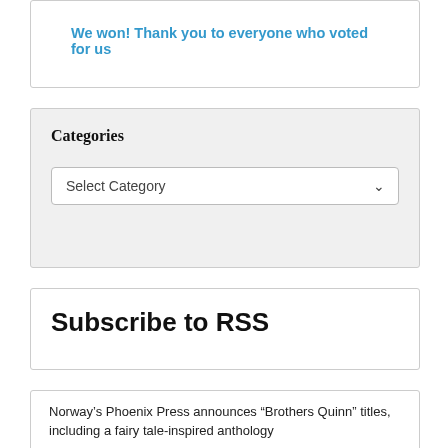We won! Thank you to everyone who voted for us
Categories
Select Category
Subscribe to RSS
Norway's Phoenix Press announces “Brothers Quinn” titles, including a fairy tale-inspired anthology
“The Secret Path: The Art of Roger and Freyja Dean” exhibition opens this week in San Francisco
SciFi London’s Science Fiction themed 48 hour film challenge announced